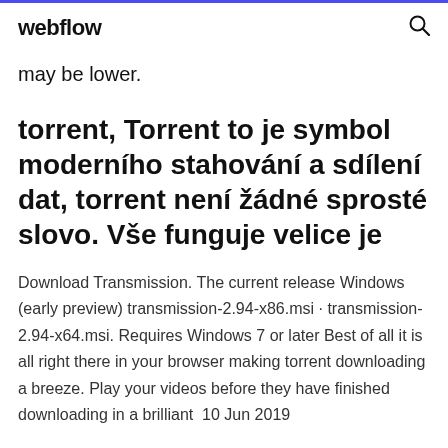webflow
may be lower.
torrent, Torrent to je symbol moderního stahování a sdílení dat, torrent není žádné sprosté slovo. Vše funguje velice je
Download Transmission. The current release Windows (early preview) transmission-2.94-x86.msi · transmission-2.94-x64.msi. Requires Windows 7 or later Best of all it is all right there in your browser making torrent downloading a breeze. Play your videos before they have finished downloading in a brilliant  10 Jun 2019